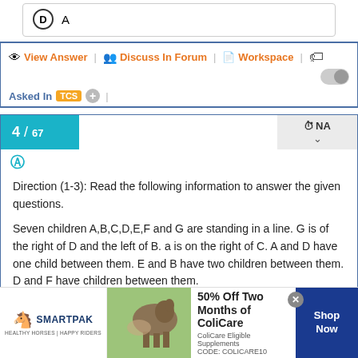D  A
View Answer | Discuss In Forum | Workspace
Asked In TCS +
4 / 67
Direction (1-3): Read the following information to answer the given questions.

Seven children A,B,C,D,E,F and G are standing in a line. G is of the right of D and the left of B. a is on the right of C. A and D have one child between them. E and B have two children between them. D and F have children between them.
[Figure (other): SmartPak advertisement banner: 50% Off Two Months of ColiCare, ColiCare Eligible Supplements, CODE: COLICARE10, Shop Now button]